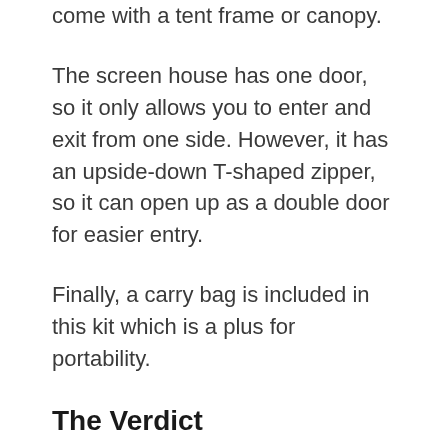come with a tent frame or canopy.
The screen house has one door, so it only allows you to enter and exit from one side. However, it has an upside-down T-shaped zipper, so it can open up as a double door for easier entry.
Finally, a carry bag is included in this kit which is a plus for portability.
The Verdict
While this is the cheapest product on our